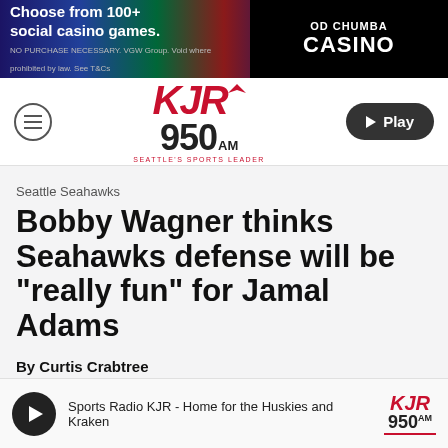[Figure (screenshot): Chumba Casino advertisement banner — 'Choose from 100+ social casino games.' with colorful game graphics and Chumba Casino logo]
[Figure (logo): KJR 950 AM Seattle's Sports Leader radio station logo with red KJR text and navigation bar with hamburger menu and Play button]
Seattle Seahawks
Bobby Wagner thinks Seahawks defense will be "really fun" for Jamal Adams
By Curtis Crabtree
Sports Radio KJR - Home for the Huskies and Kraken